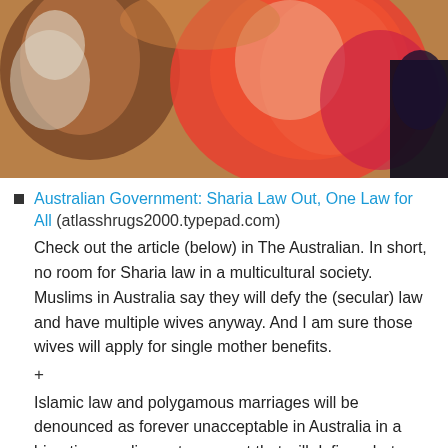[Figure (photo): A photograph showing colorful abstract or artistic image with warm tones — oranges, reds, pinks — overlapping shapes, possibly clothing or fabric.]
Australian Government: Sharia Law Out, One Law for All (atlasshrugs2000.typepad.com)
Check out the article (below) in The Australian. In short, no room for Sharia law in a multicultural society. Muslims in Australia say they will defy the (secular) law and have multiple wives anyway. And I am sure those wives will apply for single mother benefits.
+
Islamic law and polygamous marriages will be denounced as forever unacceptable in Australia in a bipartisan parliamentary report that will define what multiculturalism means for our nation, and state there must be only “one law for all”.The report — the result of